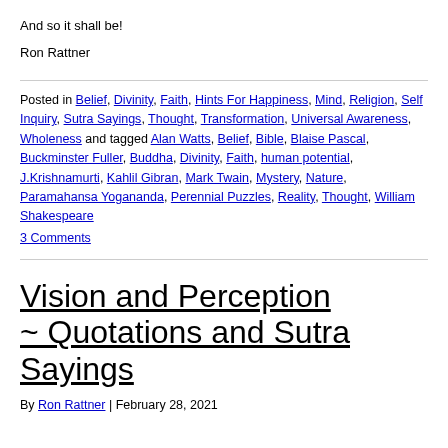And so it shall be!
Ron Rattner
Posted in Belief, Divinity, Faith, Hints For Happiness, Mind, Religion, Self Inquiry, Sutra Sayings, Thought, Transformation, Universal Awareness, Wholeness and tagged Alan Watts, Belief, Bible, Blaise Pascal, Buckminster Fuller, Buddha, Divinity, Faith, human potential, J.Krishnamurti, Kahlil Gibran, Mark Twain, Mystery, Nature, Paramahansa Yogananda, Perennial Puzzles, Reality, Thought, William Shakespeare
3 Comments
Vision and Perception ~ Quotations and Sutra Sayings
By Ron Rattner | February 28, 2021